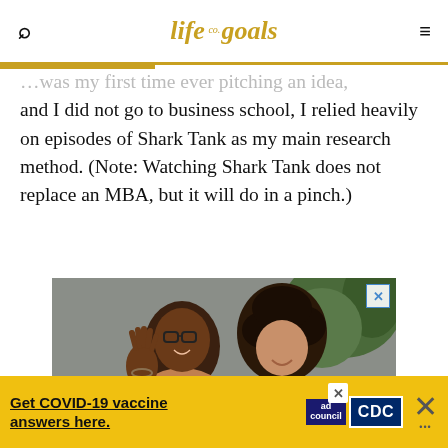life co. goals
…was my first time ever pitching an idea, and I did not go to business school, I relied heavily on episodes of Shark Tank as my main research method. (Note: Watching Shark Tank does not replace an MBA, but it will do in a pinch.)
[Figure (photo): A man with glasses waving at a laptop screen, sitting next to a young girl with curly hair, both smiling. Indoor setting with a plant in the background.]
Get COVID-19 vaccine answers here. [Ad Council / CDC advertisement]